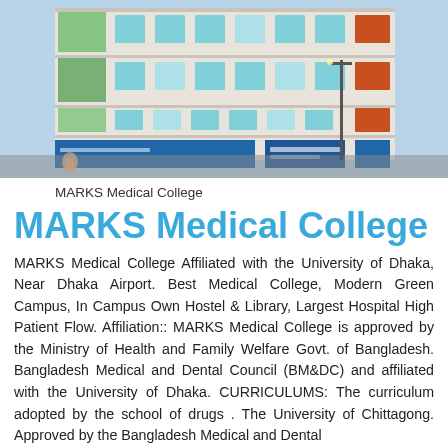[Figure (photo): Exterior photograph of MARKS Medical College building, a multi-story white building with green and teal accents, blue signage at ground level, and surrounding street scene.]
MARKS Medical College
MARKS Medical College
MARKS Medical College Affiliated with the University of Dhaka, Near Dhaka Airport. Best Medical College, Modern Green Campus, In Campus Own Hostel & Library, Largest Hospital High Patient Flow. Affiliation:: MARKS Medical College is approved by the Ministry of Health and Family Welfare Govt. of Bangladesh. Bangladesh Medical and Dental Council (BM&DC) and affiliated with the University of Dhaka. CURRICULUMS: The curriculum adopted by the school of drugs . The University of Chittagong. Approved by the Bangladesh Medical and Dental